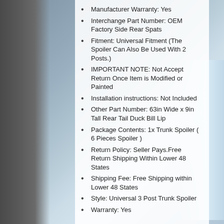Manufacturer Warranty: Yes
Interchange Part Number: OEM Factory Side Rear Spats
Fitment: Universal Fitment (The Spoiler Can Also Be Used With 2 Posts.)
IMPORTANT NOTE: Not Accept Return Once Item is Modified or Painted
Installation instructions: Not Included
Other Part Number: 63in Wide x 9in Tall Rear Tail Duck Bill Lip
Package Contents: 1x Trunk Spoiler ( 6 Pieces Spoiler )
Return Policy: Seller Pays.Free Return Shipping Within Lower 48 States
Shipping Fee: Free Shipping within Lower 48 States
Style: Universal 3 Post Trunk Spoiler
Warranty: Yes